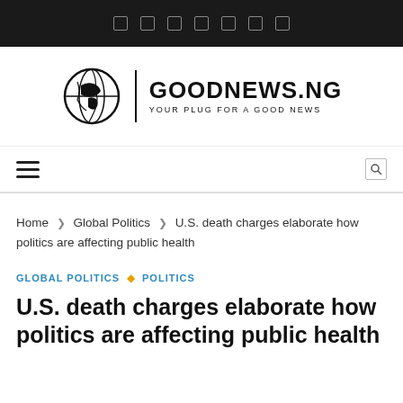Social media icon bar
[Figure (logo): GOODNEWS.NG logo with globe icon and tagline YOUR PLUG FOR A GOOD NEWS]
Navigation bar with hamburger menu and search icon
Home > Global Politics > U.S. death charges elaborate how politics are affecting public health
GLOBAL POLITICS ◆ POLITICS
U.S. death charges elaborate how politics are affecting public health